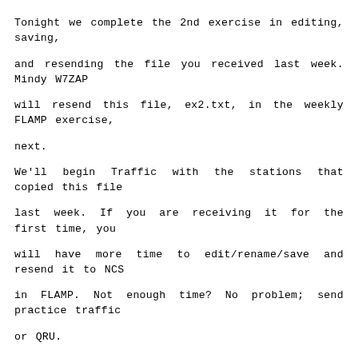Tonight we complete the 2nd exercise in editing, saving, and resending the file you received last week. Mindy W7ZAP will resend this file, ex2.txt, in the weekly FLAMP exercise, next. We'll begin Traffic with the stations that copied this file last week. If you are receiving it for the first time, you will have more time to edit/rename/save and resend it to NCS in FLAMP. Not enough time? No problem; send practice traffic or QRU.